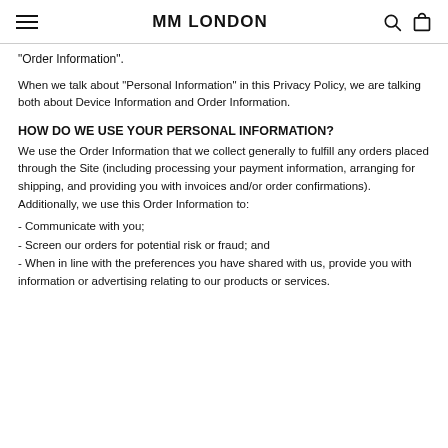MM LONDON
"Order Information".
When we talk about “Personal Information” in this Privacy Policy, we are talking both about Device Information and Order Information.
HOW DO WE USE YOUR PERSONAL INFORMATION?
We use the Order Information that we collect generally to fulfill any orders placed through the Site (including processing your payment information, arranging for shipping, and providing you with invoices and/or order confirmations). Additionally, we use this Order Information to:
- Communicate with you;
- Screen our orders for potential risk or fraud; and
- When in line with the preferences you have shared with us, provide you with information or advertising relating to our products or services.